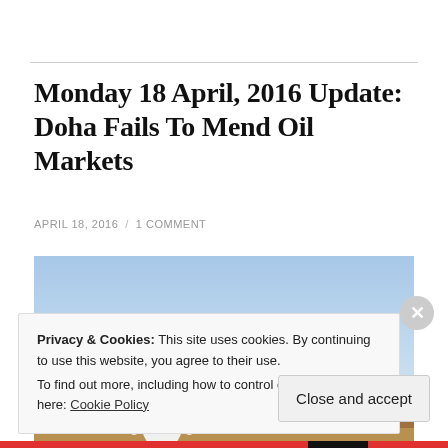Monday 18 April, 2016 Update: Doha Fails To Mend Oil Markets
APRIL 18, 2016  /  1 COMMENT
[Figure (photo): A person wearing traditional Arab dress (white thobe and red keffiyeh) standing in a desert landscape with sand dunes and blue sky in the background.]
Privacy & Cookies: This site uses cookies. By continuing to use this website, you agree to their use.
To find out more, including how to control cookies, see here: Cookie Policy
Close and accept